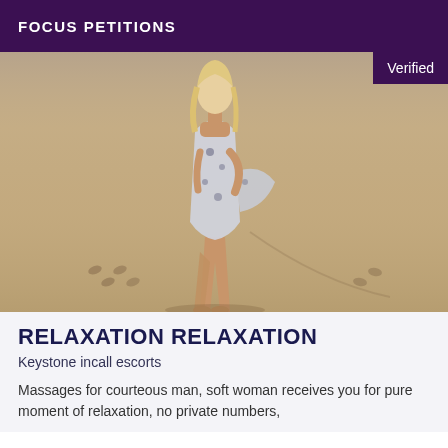FOCUS PETITIONS
[Figure (photo): Woman in a light blue/white patterned dress standing barefoot on sand at a beach, with footprints visible in the sand around her. A purple 'Verified' badge appears in the top-right corner of the photo.]
RELAXATION RELAXATION
Keystone incall escorts
Massages for courteous man, soft woman receives you for pure moment of relaxation, no private numbers,